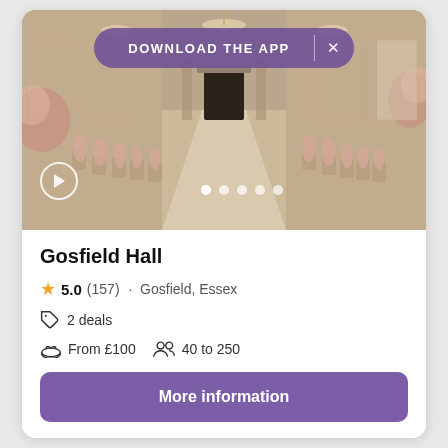[Figure (photo): Wedding venue interior showing a grand hall with rows of chairs decorated with blush/peach fabric draping on either side of a central aisle, chandeliers, a fireplace at the far end, and floral arrangements.]
Gosfield Hall
5.0 (157) · Gosfield, Essex
2 deals
From £100   40 to 250
More information